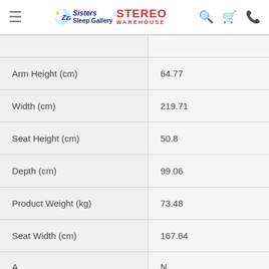Sisters Sleep Gallery STEREO WAREHOUSE
| Attribute | Value |
| --- | --- |
| Arm Height (cm) | 64.77 |
| Width (cm) | 219.71 |
| Seat Height (cm) | 50.8 |
| Depth (cm) | 99.06 |
| Product Weight (kg) | 73.48 |
| Seat Width (cm) | 167.64 |
| A... | N... |